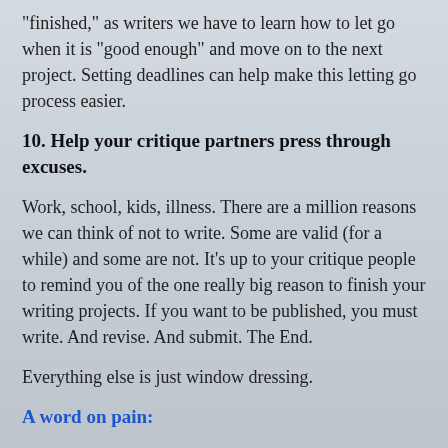"finished," as writers we have to learn how to let go when it is "good enough" and move on to the next project. Setting deadlines can help make this letting go process easier.
10. Help your critique partners press through excuses.
Work, school, kids, illness. There are a million reasons we can think of not to write. Some are valid (for a while) and some are not. It’s up to your critique people to remind you of the one really big reason to finish your writing projects. If you want to be published, you must write. And revise. And submit. The End.
Everything else is just window dressing.
A word on pain: